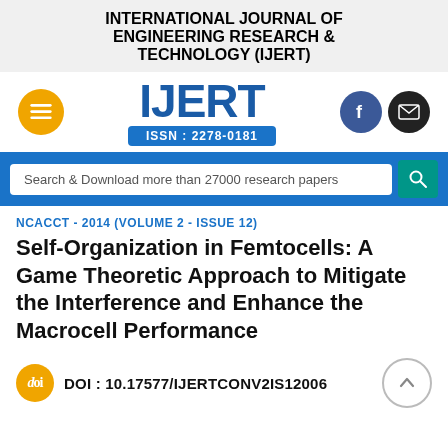INTERNATIONAL JOURNAL OF ENGINEERING RESEARCH & TECHNOLOGY (IJERT)
[Figure (logo): IJERT logo with text IJERT in blue bold font, ISSN : 2278-0181 bar below, hamburger menu button (orange circle) on left, Facebook and mail icons (circles) on right]
Search & Download more than 27000 research papers
NCACCT - 2014 (VOLUME 2 - ISSUE 12)
Self-Organization in Femtocells: A Game Theoretic Approach to Mitigate the Interference and Enhance the Macrocell Performance
DOI : 10.17577/IJERTCONV2IS12006